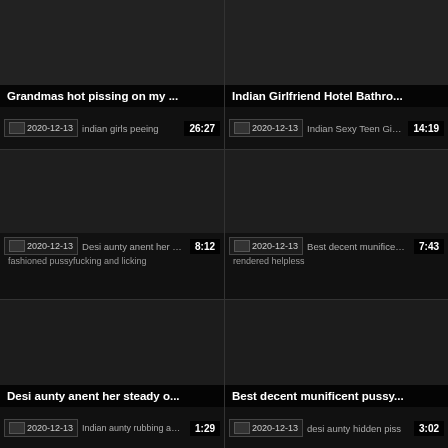[Figure (screenshot): Video thumbnail - Grandmas hot pissing on my ...]
Grandmas hot pissing on my ...
2020-12-13 | indian girls peeing | 26:27
[Figure (screenshot): Video thumbnail - Indian Girlfriend Hotel Bathro...]
Indian Girlfriend Hotel Bathro...
2020-12-13 | Indian Sexy Teen Girl Pissing | 14:19
[Figure (screenshot): Video thumbnail - indian girls peeing]
indian girls peeing
2020-12-13 | Desi aunty anent her steady old-fashioned pussyfucking and licking | 8:12
[Figure (screenshot): Video thumbnail - Indian Sexy Teen Girl Pissing]
Indian Sexy Teen Girl Pissing
2020-12-13 | Best decent munificent pussy rendered helpless | 7:43
[Figure (screenshot): Video thumbnail - Desi aunty anent her steady o...]
Desi aunty anent her steady o...
2020-12-13 | Indian aunty rubbing away Fry pussy | 1:29
[Figure (screenshot): Video thumbnail - Best decent munificent pussy...]
Best decent munificent pussy...
2020-12-13 | desi aunty hidden piss | 3:02